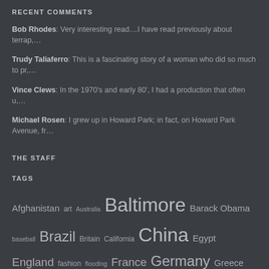RECENT COMMENTS
Bob Rhodes: Very interesting read....I have read previously about terrap,…
Trudy Taliaferro: This is a fascinating story of a woman who did so much to pr,…
Vince Clews: In the 1970's and early 80', I had a production that often u,…
Michael Rosen: I grew up in Howard Park; in fact, on Howard Park Avenue, fr…
THE STAFF
TAGS
Afghanistan art Australia Baltimore Barack Obama baseball Brazil Britain California China Egypt England fashion flooding France Germany Greece howard county India Indonesia Israel Italy Japan London